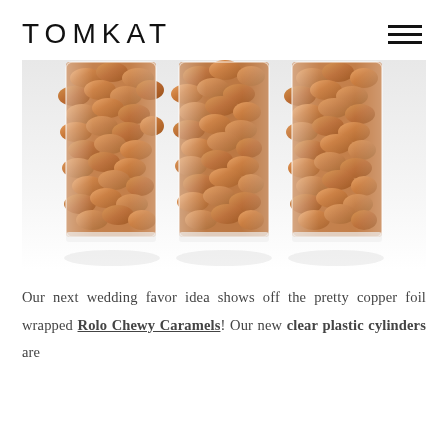TOMKAT
[Figure (photo): Three clear plastic cylinders filled with copper foil-wrapped Rolo Chewy Caramel candies, photographed on a white reflective surface.]
Our next wedding favor idea shows off the pretty copper foil wrapped Rolo Chewy Caramels! Our new clear plastic cylinders are